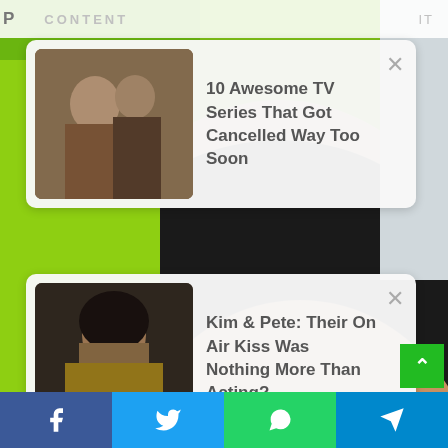P CONTENT IT
[Figure (screenshot): Notification card: thumbnail of two people in period costume with text '10 Awesome TV Series That Got Cancelled Way Too Soon' and X close button]
[Figure (photo): Background photo of a celebrity with green and black hair, black nail polish, posing with hand near face, close-up shot]
[Figure (screenshot): Notification card: thumbnail of a dark-haired woman with text 'Kim & Pete: Their On Air Kiss Was Nothing More Than Acting?' and X close button]
[Figure (infographic): Social share bar at bottom with Facebook, Twitter, WhatsApp, and Telegram icons]